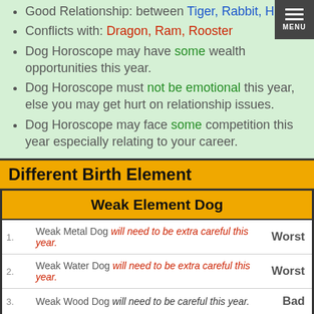Good Relationship: between Tiger, Rabbit, Horse
Conflicts with: Dragon, Ram, Rooster
Dog Horoscope may have some wealth opportunities this year.
Dog Horoscope must not be emotional this year, else you may get hurt on relationship issues.
Dog Horoscope may face some competition this year especially relating to your career.
Different Birth Element
| # | Description | Rating |
| --- | --- | --- |
| 1. | Weak Metal Dog will need to be extra careful this year. | Worst |
| 2. | Weak Water Dog will need to be extra careful this year. | Worst |
| 3. | Weak Wood Dog will need to be careful this year. | Bad |
| 4. | Weak Fire Dog will do pretty well this year. | Good |
| 5. | Weak Earth Dog will do exceptionally well this year. | Best |
Strong Element Dog